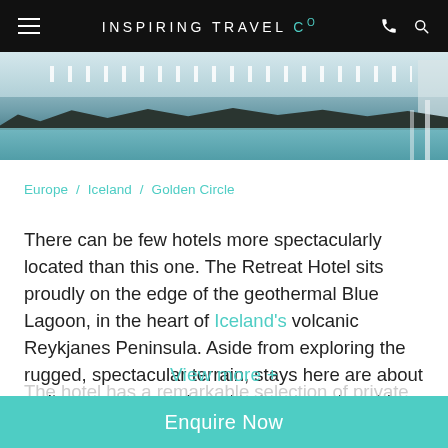INSPIRING TRAVEL Co
[Figure (photo): Aerial or eye-level view of the Blue Lagoon geothermal pool area with white lounge chairs and dark volcanic rock silhouette in the background, misty sky above.]
Europe / Iceland / Golden Circle
There can be few hotels more spectacularly located than this one. The Retreat Hotel sits proudly on the edge of the geothermal Blue Lagoon, in the heart of Iceland's volcanic Reykjanes Peninsula. Aside from exploring the rugged, spectacular terrain, stays here are about wellness, reconnecting with the natural world and indulging in a spot of well-earned relaxation.
The hotel has a remarkable selection of private lagoon and...
View more +
Enquire Now